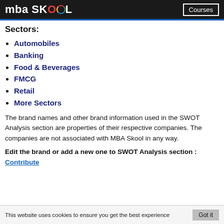mba SKOOL | Courses
Sectors:
Automobiles
Banking
Food & Beverages
FMCG
Retail
More Sectors
The brand names and other brand information used in the SWOT Analysis section are properties of their respective companies. The companies are not associated with MBA Skool in any way.
Edit the brand or add a new one to SWOT Analysis section : Contribute
This website uses cookies to ensure you get the best experience   Got it